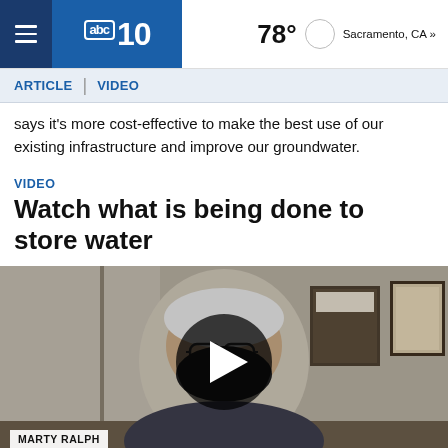abc10 | 78° Sacramento, CA »
ARTICLE | VIDEO
says it's more cost-effective to make the best use of our existing infrastructure and improve our groundwater.
VIDEO
Watch what is being done to store water
[Figure (screenshot): Video thumbnail showing a man with white hair and glasses wearing a black mask, seated in an office. A large dark circular play button overlay is centered on the image. A lower-third label reads 'MARTY RALPH'.]